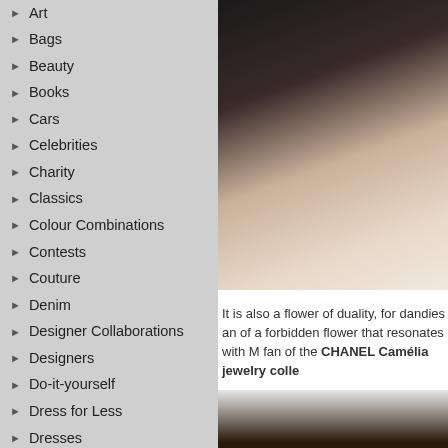Art
Bags
Beauty
Books
Cars
Celebrities
Charity
Classics
Colour Combinations
Contests
Couture
Denim
Designer Collaborations
Designers
Do-it-yourself
Dress for Less
Dresses
Events
Exhibitions
Fall/Winter 2010
Fall/Winter 2011
Fall/Winter 2012
Fall/Winter 2013
[Figure (photo): Close-up photo of a person's ear with a decorative jewelry earring, dark hair visible]
It is also a flower of duality, for dandies and of a forbidden flower that resonates with M fan of the CHANEL Camélia jewelry colle
[Figure (photo): Photo showing the back of a person's head with dark hair against a light background]